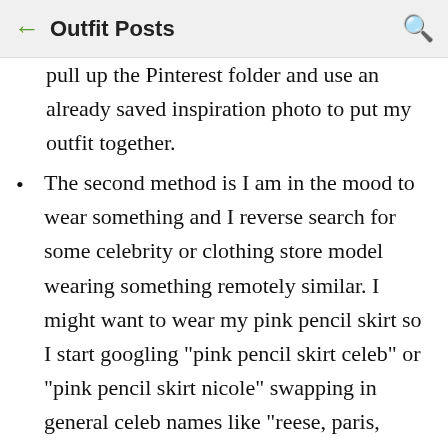Outfit Posts
pull up the Pinterest folder and use an already saved inspiration photo to put my outfit together.
The second method is I am in the mood to wear something and I reverse search for some celebrity or clothing store model wearing something remotely similar. I might want to wear my pink pencil skirt so I start googling "pink pencil skirt celeb" or "pink pencil skirt nicole" swapping in general celeb names like "reese, paris, jennifer, rachel, britney" until I find some passable image that I can use. Or I will browse a site like Net-